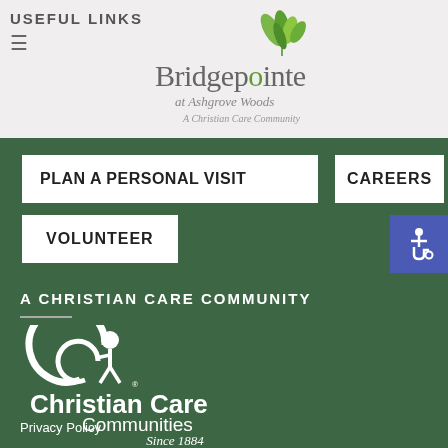USEFUL LINKS
[Figure (logo): Bridgepointe at Ashgrove Woods - A Christian Care Community logo with green leaf decoration]
PLAN A PERSONAL VISIT
CAREERS
VOLUNTEER
[Figure (logo): Blue accessibility wheelchair icon button]
A CHRISTIAN CARE COMMUNITY
[Figure (logo): Christian Care Communities Since 1884 white logo on green background]
Privacy Policy